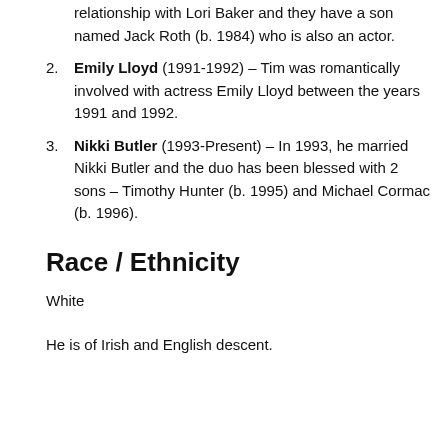relationship with Lori Baker and they have a son named Jack Roth (b. 1984) who is also an actor.
Emily Lloyd (1991-1992) – Tim was romantically involved with actress Emily Lloyd between the years 1991 and 1992.
Nikki Butler (1993-Present) – In 1993, he married Nikki Butler and the duo has been blessed with 2 sons – Timothy Hunter (b. 1995) and Michael Cormac (b. 1996).
Race / Ethnicity
White
He is of Irish and English descent.